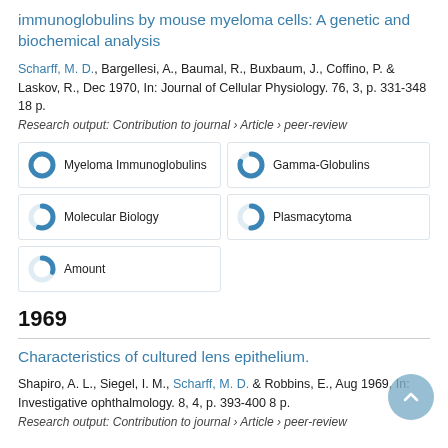immunoglobulins by mouse myeloma cells: A genetic and biochemical analysis
Scharff, M. D., Bargellesi, A., Baumal, R., Buxbaum, J., Coffino, P. & Laskov, R., Dec 1970, In: Journal of Cellular Physiology. 76, 3, p. 331-348 18 p.
Research output: Contribution to journal › Article › peer-review
[Figure (infographic): Five keyword/topic badges with donut-style percentage icons: Myeloma Immunoglobulins (100%), Gamma-Globulins (~80%), Molecular Biology (~55%), Plasmacytoma (~50%), Amount (~30%)]
1969
Characteristics of cultured lens epithelium.
Shapiro, A. L., Siegel, I. M., Scharff, M. D. & Robbins, E., Aug 1969, In: Investigative ophthalmology. 8, 4, p. 393-400 8 p.
Research output: Contribution to journal › Article › peer-review